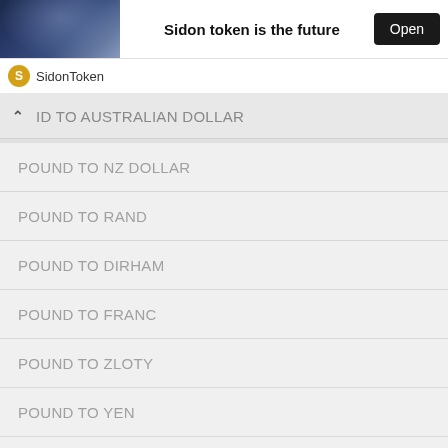[Figure (screenshot): Ad banner with dark fantasy image on left, bold text 'Sidon token is the future' in center, and black 'Open' button on right]
SidonToken
ID TO AUSTRALIAN DOLLAR
POUND TO NZ DOLLAR
POUND TO RAND
POUND TO DIRHAM
POUND TO FRANC
POUND TO ZLOTY
POUND TO YEN
POUND TO WON
POUND TO KRONE